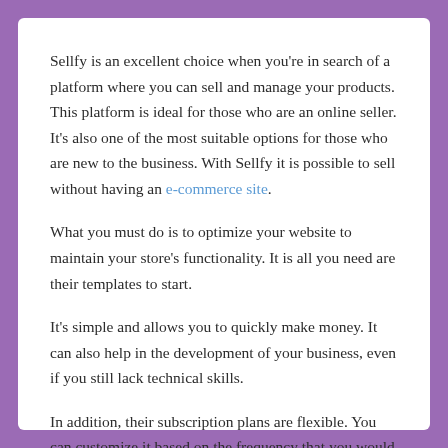Sellfy is an excellent choice when you're in search of a platform where you can sell and manage your products. This platform is ideal for those who are an online seller. It's also one of the most suitable options for those who are new to the business. With Sellfy it is possible to sell without having an e-commerce site.
What you must do is to optimize your website to maintain your store's functionality. It is all you need are their templates to start.
It's simple and allows you to quickly make money. It can also help in the development of your business, even if you still lack technical skills.
In addition, their subscription plans are flexible. You can customize it based on the frequency that you would like to be invoiced.